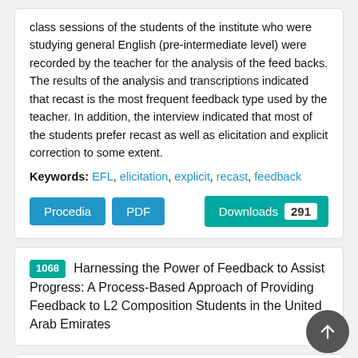class sessions of the students of the institute who were studying general English (pre-intermediate level) were recorded by the teacher for the analysis of the feed backs. The results of the analysis and transcriptions indicated that recast is the most frequent feedback type used by the teacher. In addition, the interview indicated that most of the students prefer recast as well as elicitation and explicit correction to some extent.
Keywords: EFL, elicitation, explicit, recast, feedback
Procedia | PDF | Downloads 291
1068 Harnessing the Power of Feedback to Assist Progress: A Process-Based Approach of Providing Feedback to L2 Composition Students in the United Arab Emirates